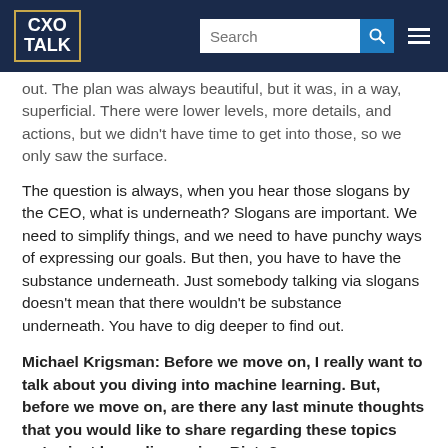CXO TALK | Search
out. The plan was always beautiful, but it was, in a way, superficial. There were lower levels, more details, and actions, but we didn't have time to get into those, so we only saw the surface.
The question is always, when you hear those slogans by the CEO, what is underneath? Slogans are important. We need to simplify things, and we need to have punchy ways of expressing our goals. But then, you have to have the substance underneath. Just somebody talking via slogans doesn't mean that there wouldn't be substance underneath. You have to dig deeper to find out.
Michael Krigsman: Before we move on, I really want to talk about you diving into machine learning. But, before we move on, are there any last minute thoughts that you would like to share regarding these topics we've just been discussing, Risto?
Risto Siilasmaa: There are many, but I love machine learning so much that I'm eager to move into that topic as well.